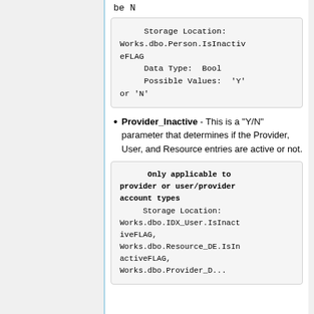be N
Storage Location: Works.dbo.Person.IsInactiveFLAG
    Data Type:  Bool
    Possible Values:  'Y' or 'N'
Provider_Inactive - This is a "Y/N" parameter that determines if the Provider, User, and Resource entries are active or not.
Only applicable to provider or user/provider account types
    Storage Location: Works.dbo.IDX_User.IsInactiveFLAG,
Works.dbo.Resource_DE.IsInactiveFLAG,
Works.dbo.Provider_DE.Is...